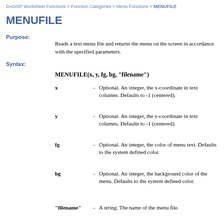DADiSP Worksheet Functions > Function Categories > Menu Functions > MENUFILE
MENUFILE
Purpose:
Reads a text menu file and returns the menu on the screen in accordance with the specified parameters.
Syntax:
MENUFILE(x, y, fg, bg, "filename")
x - Optional. An integer, the x-coordinate in text columns. Defaults to -1 (centered).
y - Optional. An integer, the y-coordinate in text columns. Defaults to -1 (centered).
fg - Optional. An integer, the color of menu text. Defaults to the system defined color.
bg - Optional. An integer, the background color of the menu. Defaults to the system defined color.
"filename" - A string. The name of the menu file.